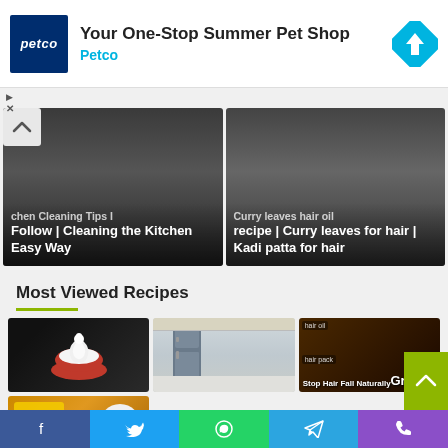[Figure (screenshot): Petco advertisement banner with logo, 'Your One-Stop Summer Pet Shop' headline, Petco brand label in blue, and a blue direction sign icon]
[Figure (screenshot): Two video thumbnails: left shows 'chen Cleaning Tips I follow | Cleaning the Kitchen Easy Way', right shows 'Curry leaves hair oil recipe | Curry leaves for hair | Kadi patta for hair']
Most Viewed Recipes
[Figure (screenshot): Grid of recipe thumbnails: cream/whipped item in red bowl, modern kitchen with fridge, hair growth oil jar, and sambar premix packet]
[Figure (screenshot): Social media share bar with Facebook, Twitter, WhatsApp, Telegram, and Phone icons]